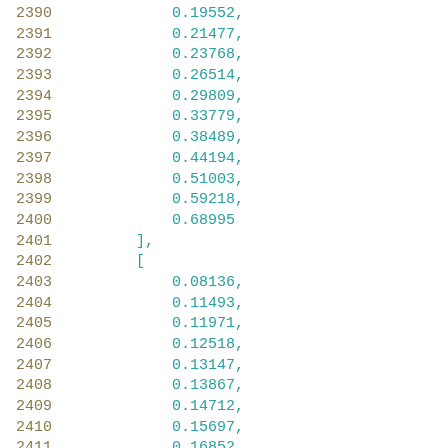2390    0.19552,
2391    0.21477,
2392    0.23768,
2393    0.26514,
2394    0.29809,
2395    0.33779,
2396    0.38489,
2397    0.44194,
2398    0.51003,
2399    0.59218,
2400    0.68995
2401    ],
2402    [
2403        0.08136,
2404        0.11493,
2405        0.11971,
2406        0.12518,
2407        0.13147,
2408        0.13867,
2409        0.14712,
2410        0.15697,
2411        0.16852,